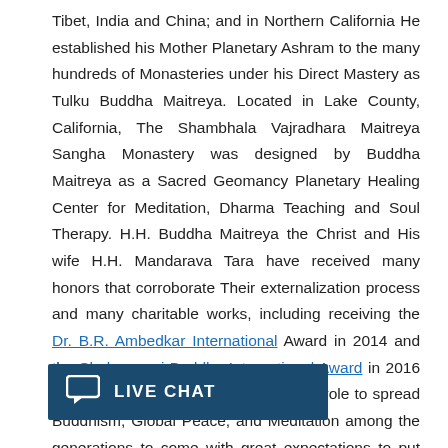Tibet, India and China; and in Northern California He established his Mother Planetary Ashram to the many hundreds of Monasteries under his Direct Mastery as Tulku Buddha Maitreya. Located in Lake County, California, The Shambhala Vajradhara Maitreya Sangha Monastery was designed by Buddha Maitreya as a Sacred Geomancy Planetary Healing Center for Meditation, Dharma Teaching and Soul Therapy. H.H. Buddha Maitreya the Christ and His wife H.H. Mandarava Tara have received many honors that corroborate Their externalization process and many charitable works, including receiving the Dr. B.R. Ambedkar International Award in 2014 and the Shakyamuni Buddha International Award in 2016 "by virtue of (their) initiative and active role to spread Buddhism, Global Peace, and Meditation among the generations to come with great expectations to put them into practice at the international level". Most recently here in 2020-2021, Sanat Buddha Maitreya Kumara has been recognized as a Humanitarian by the Marquis world.
[Figure (other): Live chat button overlay at bottom left of page, dark blue rectangle with chat bubble icon and text 'LIVE CHAT']